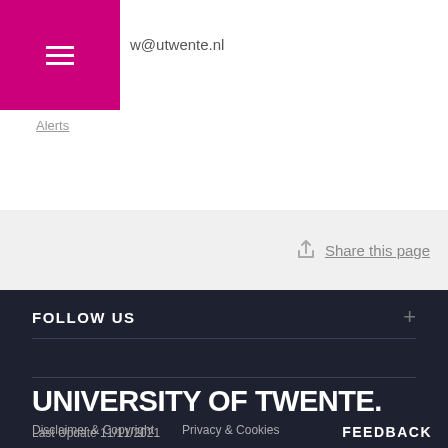w@utwente.nl
Alerts
Share this page
FOLLOW US
UNIVERSITY OF TWENTE.
Disclaimer & Copyright   Privacy & Cookies
Last Update 11/11/2021
FEEDBACK